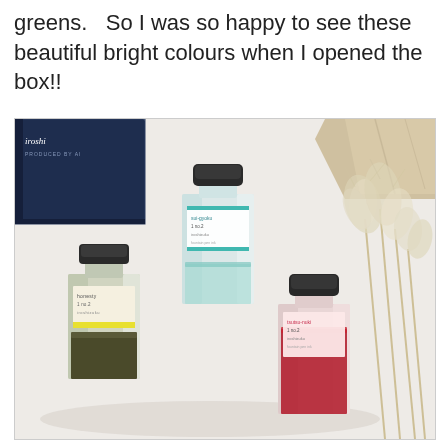greens.   So I was so happy to see these beautiful bright colours when I opened the box!!
[Figure (photo): Three fountain pen ink bottles on a white surface next to a dark navy blue box (Iroshizuku brand) and dried pampas grass. Left bottle contains dark olive/green ink, center bottle contains clear/teal ink, right bottle contains pink/red ink. All bottles have black caps and small label stickers.]